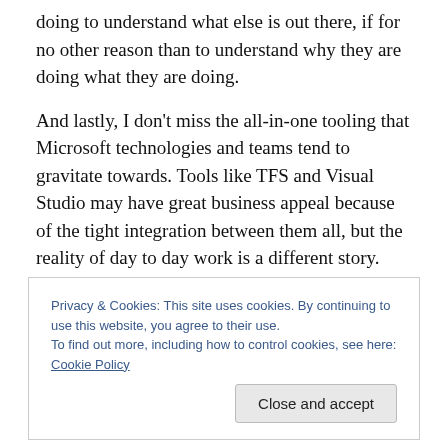doing to understand what else is out there, if for no other reason than to understand why they are doing what they are doing.
And lastly, I don't miss the all-in-one tooling that Microsoft technologies and teams tend to gravitate towards. Tools like TFS and Visual Studio may have great business appeal because of the tight integration between them all, but the reality of day to day work is a different story. These tools lead to very rigid processes, where the tools are dictating how people work and interact. They solve larger
Privacy & Cookies: This site uses cookies. By continuing to use this website, you agree to their use.
To find out more, including how to control cookies, see here: Cookie Policy